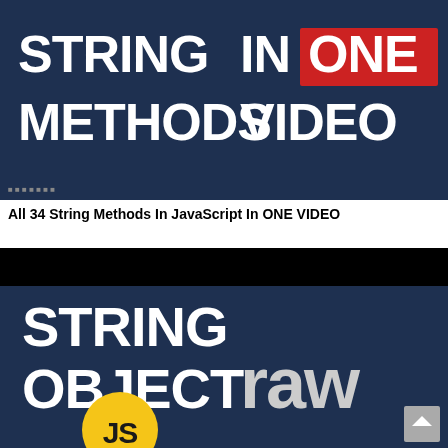[Figure (screenshot): Dark navy blue thumbnail image with large white bold text 'STRING METHODS' on left and 'IN ONE VIDEO' on right, with 'ONE' highlighted in a red rectangle. Small watermark text at bottom left.]
All 34 String Methods In JavaScript In ONE VIDEO
[Figure (screenshot): Dark navy blue thumbnail image with black bar at top. Large white bold text 'STRING OBJECT' on left side, and 'raw' in lighter bold text on right side. Yellow circle with 'JS' text at bottom left. Gray scroll-to-top button at bottom right.]